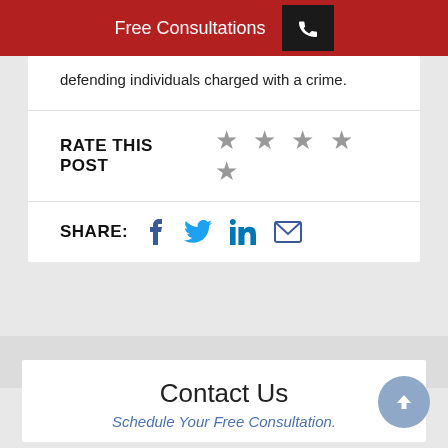Free Consultations
defending individuals charged with a crime.
RATE THIS POST ☆ ☆ ☆ ☆ ☆
SHARE:
Contact Us
Schedule Your Free Consultation.